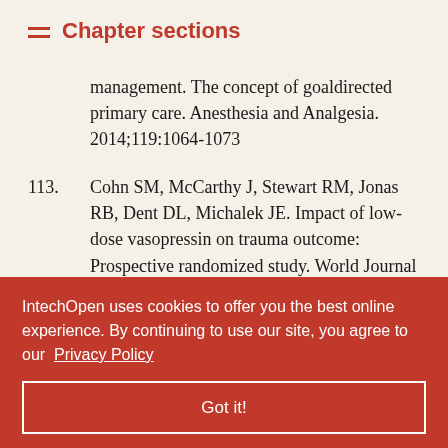Chapter sections
management. The concept of goaldirected primary care. Anesthesia and Analgesia. 2014;119:1064-1073
113. Cohn SM, McCarthy J, Stewart RM, Jonas RB, Dent DL, Michalek JE. Impact of low-dose vasopressin on trauma outcome: Prospective randomized study. World Journal of Surgery. 2011;35:430-439
114. Salhab M, Farmer J, Osman I. Impact of delay on survival in patients with ruptured [abdominal aortic] aneurysm... ular.
115. ...Ngu JH, ...o of time to ...GI bleeding with patient characteristics and outcomes: A
IntechOpen uses cookies to offer you the best online experience. By continuing to use our site, you agree to our Privacy Policy
Got it!